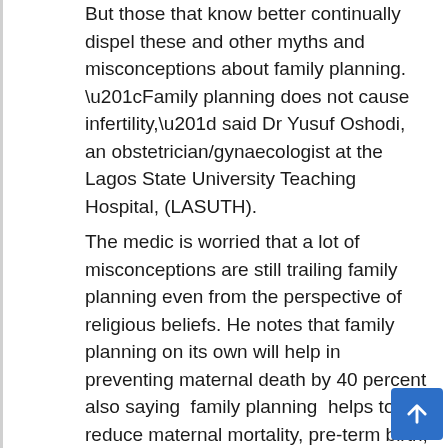But those that know better continually dispel these and other myths and misconceptions about family planning. “Family planning does not cause infertility,” said Dr Yusuf Oshodi, an obstetrician/gynaecologist at the Lagos State University Teaching Hospital, (LASUTH).
The medic is worried that a lot of misconceptions are still trailing family planning even from the perspective of religious beliefs. He notes that family planning on its own will help in preventing maternal death by 40 percent also saying  family planning  helps to reduce maternal mortality, pre-term birth, and low birth weight among children because underweight is actually the cause of 60 – 80 percent of neonatal deaths.